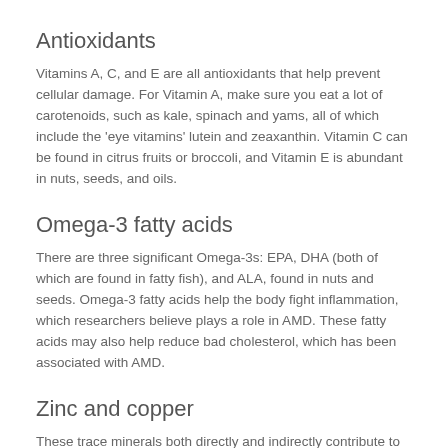Antioxidants
Vitamins A, C, and E are all antioxidants that help prevent cellular damage. For Vitamin A, make sure you eat a lot of carotenoids, such as kale, spinach and yams, all of which include the 'eye vitamins' lutein and zeaxanthin. Vitamin C can be found in citrus fruits or broccoli, and Vitamin E is abundant in nuts, seeds, and oils.
Omega-3 fatty acids
There are three significant Omega-3s: EPA, DHA (both of which are found in fatty fish), and ALA, found in nuts and seeds. Omega-3 fatty acids help the body fight inflammation, which researchers believe plays a role in AMD. These fatty acids may also help reduce bad cholesterol, which has been associated with AMD.
Zinc and copper
These trace minerals both directly and indirectly contribute to eye health. Zinc, for example, aids in the absorption of the